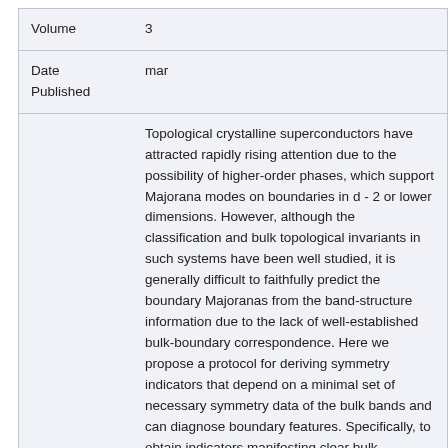| Volume | 3 |
| Date Published | mar |
| Abstract | Topological crystalline superconductors have attracted rapidly rising attention due to the possibility of higher-order phases, which support Majorana modes on boundaries in d - 2 or lower dimensions. However, although the classification and bulk topological invariants in such systems have been well studied, it is generally difficult to faithfully predict the boundary Majoranas from the band-structure information due to the lack of well-established bulk-boundary correspondence. Here we propose a protocol for deriving symmetry indicators that depend on a minimal set of necessary symmetry data of the bulk bands and can diagnose boundary features. Specifically, to obtain indicators manifesting clear bulk-boundary correspondence, we combine the topological crystal classification scheme in real space and a twisted |